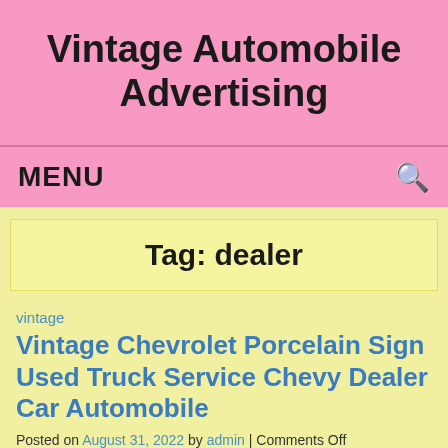Vintage Automobile Advertising
MENU
Tag: dealer
vintage
Vintage Chevrolet Porcelain Sign Used Truck Service Chevy Dealer Car Automobile
Posted on August 31, 2022 by admin | Comments Off
[Figure (photo): Thumbnail image of a Chevrolet porcelain sign showing a blue building with yellow/gold elements]